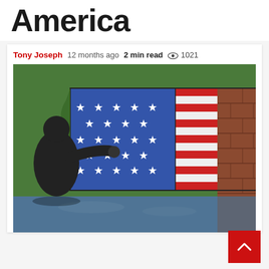America
Tony Joseph  12 months ago  2 min read  1021
[Figure (photo): A child painting a mural on a wall featuring the American flag and a brick wall motif on a green background.]
[Figure (other): Red scroll-to-top button with white chevron arrow]